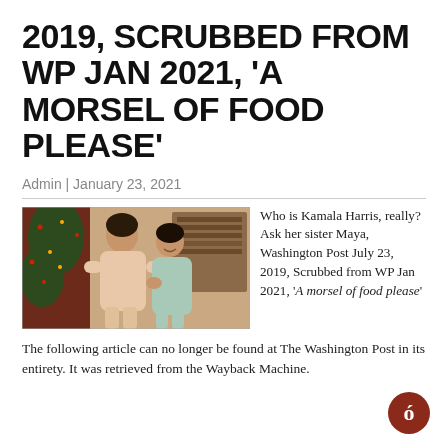2019, SCRUBBED FROM WP JAN 2021, ‘A MORSEL OF FOOD PLEASE’
Admin | January 23, 2021
[Figure (photo): Vintage color photograph of two children standing near a Christmas tree. An older child in a light pink/beige outfit holds hands with a younger child in a light teal/mint outfit who is smiling at the camera.]
Who is Kamala Harris, really? Ask her sister Maya, Washington Post July 23, 2019, Scrubbed from WP Jan 2021, ‘A morsel of food please’
The following article can no longer be found at The Washington Post in its entirety. It was retrieved from the Wayback Machine.